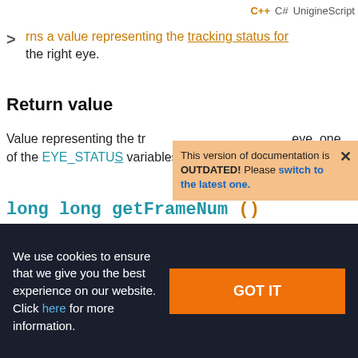C++  C#  UnigineScript
returns a value representing the tracking status for the right eye.
Return value
Value representing the tracking status for the right eye, one of the EYE_STATUS variables.
This version of documentation is OUTDATED! Please switch to the latest one.
long long getFrameNum ()
We use cookies to ensure that we give you the best experience on our website. Click here for more information.